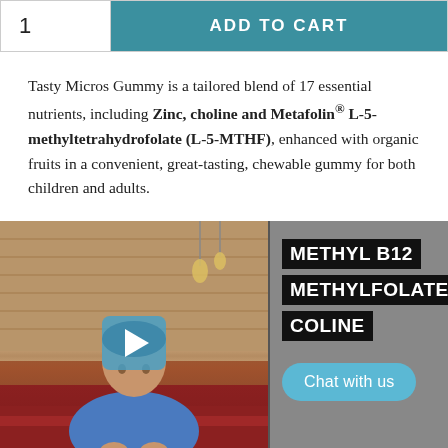1
ADD TO CART
Tasty Micros Gummy is a tailored blend of 17 essential nutrients, including Zinc, choline and Metafolin® L-5-methyltetrahydrofolate (L-5-MTHF), enhanced with organic fruits in a convenient, great-tasting, chewable gummy for both children and adults.
[Figure (screenshot): Video thumbnail showing a man sitting on a red sofa in front of a wooden wall with pendant lights. Right panel shows text labels: METHYL B12, METHYLFOLATE, COLINE on black backgrounds. A play button overlay is visible. A teal chat bubble reads 'Chat with us'.]